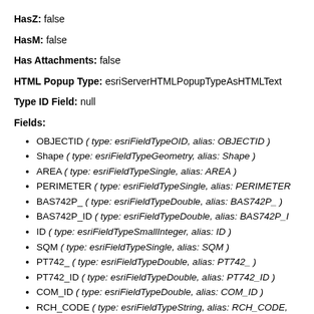HasZ: false
HasM: false
Has Attachments: false
HTML Popup Type: esriServerHTMLPopupTypeAsHTMLText
Type ID Field: null
Fields:
OBJECTID ( type: esriFieldTypeOID, alias: OBJECTID )
Shape ( type: esriFieldTypeGeometry, alias: Shape )
AREA ( type: esriFieldTypeSingle, alias: AREA )
PERIMETER ( type: esriFieldTypeSingle, alias: PERIMETER
BAS742P_ ( type: esriFieldTypeDouble, alias: BAS742P_ )
BAS742P_ID ( type: esriFieldTypeDouble, alias: BAS742P_I
ID ( type: esriFieldTypeSmallInteger, alias: ID )
SQM ( type: esriFieldTypeSingle, alias: SQM )
PT742_ ( type: esriFieldTypeDouble, alias: PT742_ )
PT742_ID ( type: esriFieldTypeDouble, alias: PT742_ID )
COM_ID ( type: esriFieldTypeDouble, alias: COM_ID )
RCH_CODE ( type: esriFieldTypeString, alias: RCH_CODE,